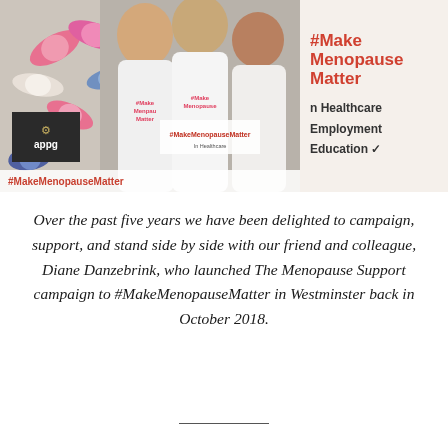[Figure (photo): Three women standing together holding signs and wearing white t-shirts with #Make Menopause Matter. Background shows a banner reading #Make Menopause Matter in Healthcare, Employment, Education with a checkmark. Left side shows pills/capsules. Bottom left shows an APPG (All Party Parliamentary Group) badge. A banner strip reads #MakeMenopauseMatter.]
Over the past five years we have been delighted to campaign, support, and stand side by side with our friend and colleague, Diane Danzebrink, who launched The Menopause Support campaign to #MakeMenopauseMatter in Westminster back in October 2018.